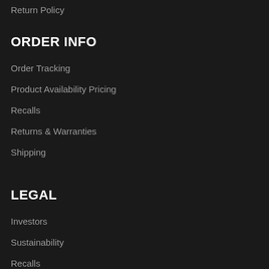Return Policy
ORDER INFO
Order Tracking
Product Availability Pricing
Recalls
Returns & Warranties
Shipping
LEGAL
Investors
Sustainability
Recalls